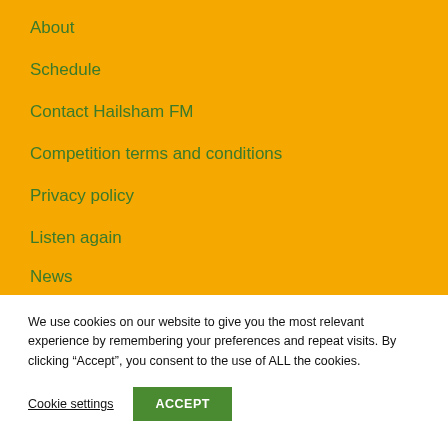About
Schedule
Contact Hailsham FM
Competition terms and conditions
Privacy policy
Listen again
News
We use cookies on our website to give you the most relevant experience by remembering your preferences and repeat visits. By clicking “Accept”, you consent to the use of ALL the cookies.
Cookie settings
ACCEPT